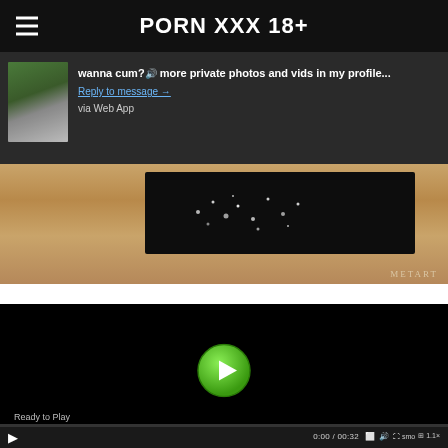PORN XXX 18+
wanna cum? more private photos and vids in my profile...
Reply to message →
via Web App
[Figure (photo): Close-up image of a dark glittery/sequined object on a wooden surface with METART watermark]
[Figure (screenshot): Black video player with green play button in center, showing Ready to Play status and time 0:00 / 00:32]